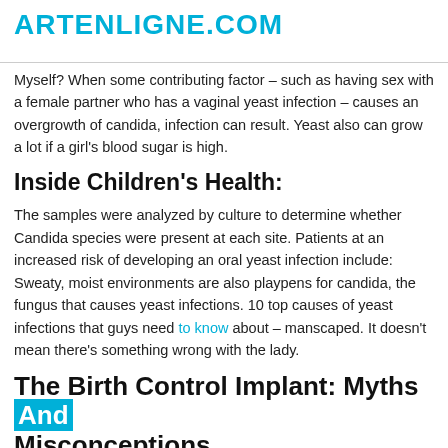ARTENLIGNE.COM
Myself? When some contributing factor – such as having sex with a female partner who has a vaginal yeast infection – causes an overgrowth of candida, infection can result. Yeast also can grow a lot if a girl's blood sugar is high.
Inside Children's Health:
The samples were analyzed by culture to determine whether Candida species were present at each site. Patients at an increased risk of developing an oral yeast infection include: Sweaty, moist environments are also playpens for candida, the fungus that causes yeast infections. 10 top causes of yeast infections that guys need to know about – manscaped. It doesn't mean there's something wrong with the lady.
The Birth Control Implant: Myths And Misconceptions